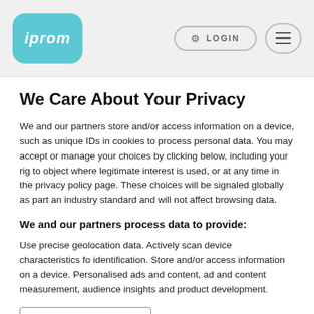iprom | LOGIN | menu
We Care About Your Privacy
We and our partners store and/or access information on a device, such as unique IDs in cookies to process personal data. You may accept or manage your choices by clicking below, including your right to object where legitimate interest is used, or at any time in the privacy policy page. These choices will be signaled globally as part of an industry standard and will not affect browsing data.
We and our partners process data to provide:
Use precise geolocation data. Actively scan device characteristics for identification. Store and/or access information on a device. Personalised ads and content, ad and content measurement, audience insights and product development.
List of Partners (vendors)
I Accept